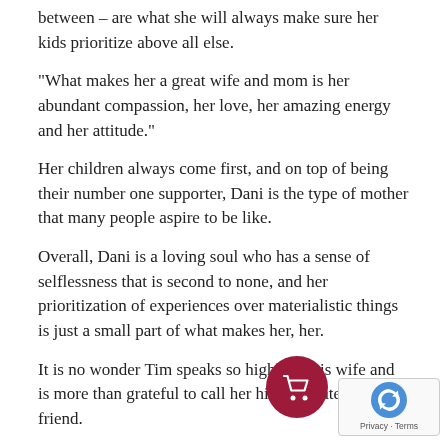between – are what she will always make sure her kids prioritize above all else.
"What makes her a great wife and mom is her abundant compassion, her love, her amazing energy and her attitude."
Her children always come first, and on top of being their number one supporter, Dani is the type of mother that many people aspire to be like.
Overall, Dani is a loving soul who has a sense of selflessness that is second to none, and her prioritization of experiences over materialistic things is just a small part of what makes her, her.
It is no wonder Tim speaks so highly of his wife and is more than grateful to call her his soulmate and best friend.
"We love you and words can't express how much we appreciate everything you do for our family. The best ahead. You truly are our WHY!" – Tim, Charlie, and Anthony